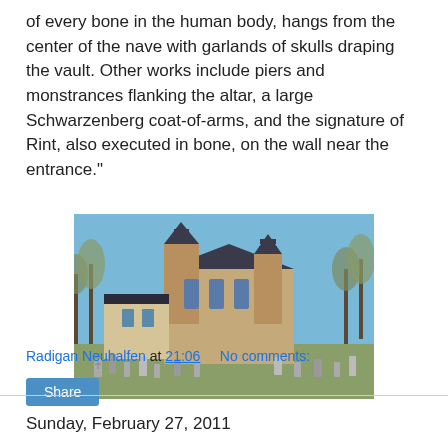of every bone in the human body, hangs from the center of the nave with garlands of skulls draping the vault. Other works include piers and monstrances flanking the altar, a large Schwarzenberg coat-of-arms, and the signature of Rint, also executed in bone, on the wall near the entrance."
[Figure (photo): Exterior photograph of a Gothic church with two towers and a cemetery in the foreground, under a blue sky with bare trees on either side.]
Radigan Neuhalfen at 21:06    No comments:
Share
Sunday, February 27, 2011